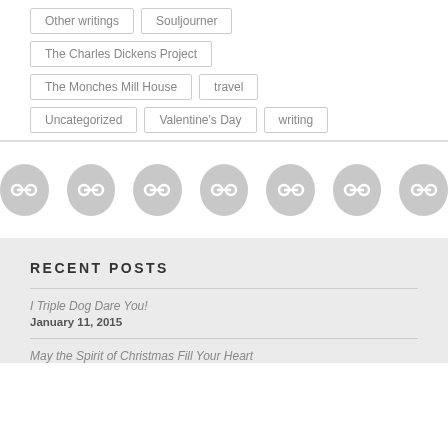Other writings
Souljourner
The Charles Dickens Project
The Monches Mill House
travel
Uncategorized
Valentine's Day
writing
[Figure (infographic): Seven circular gray social media icon buttons arranged in a horizontal row]
RECENT POSTS
I Triple Dog Dare You!
January 11, 2015
May the Spirit of Christmas Fill Your Heart